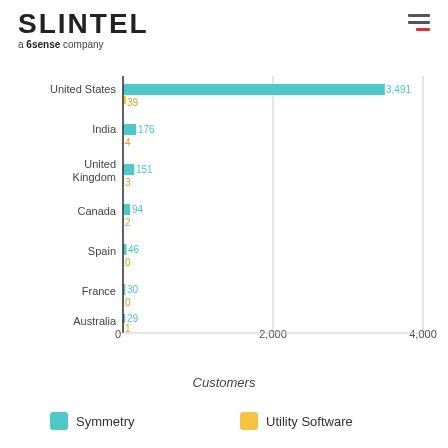[Figure (logo): SLINTEL a 6sense company logo with hamburger menu icon]
[Figure (grouped-bar-chart): ]
Customers
Symmetry
Utility Software